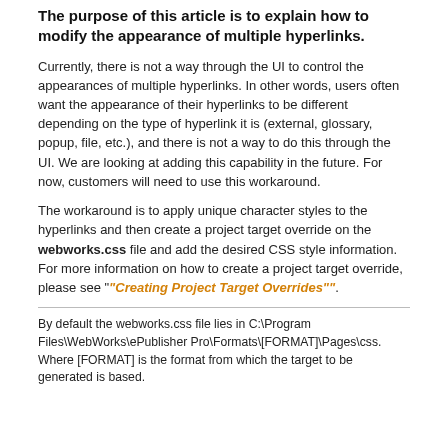The purpose of this article is to explain how to modify the appearance of multiple hyperlinks.
Currently, there is not a way through the UI to control the appearances of multiple hyperlinks. In other words, users often want the appearance of their hyperlinks to be different depending on the type of hyperlink it is (external, glossary, popup, file, etc.), and there is not a way to do this through the UI. We are looking at adding this capability in the future. For now, customers will need to use this workaround.
The workaround is to apply unique character styles to the hyperlinks and then create a project target override on the webworks.css file and add the desired CSS style information. For more information on how to create a project target override, please see ""Creating Project Target Overrides"".
By default the webworks.css file lies in C:\Program Files\WebWorks\ePublisher Pro\Formats\[FORMAT]\Pages\css. Where [FORMAT] is the format from which the target to be generated is based.